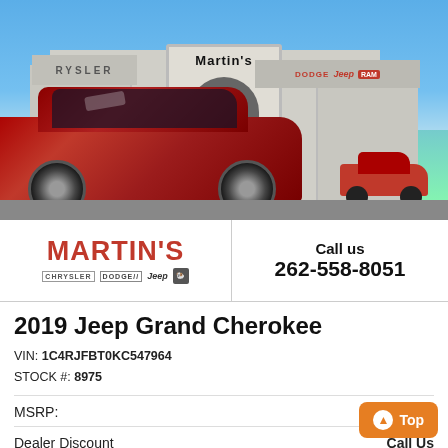[Figure (photo): Photo of a red 2019 Jeep Grand Cherokee SUV parked in front of Martin's Chrysler Dodge Jeep Ram dealership building on a sunny day]
MARTIN'S
CHRYSSLER DODGE Jeep RAM
Call us
262-558-8051
2019 Jeep Grand Cherokee
VIN: 1C4RJFBT0KC547964
STOCK #: 8975
MSRP: -
Dealer Discount	Call Us
CLICK HERE	$  5